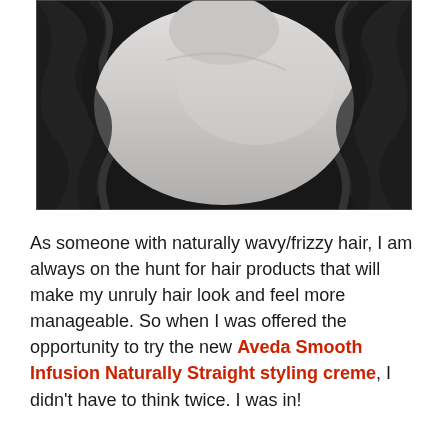[Figure (photo): Black and white photograph showing a person's bare shoulder and back with dark hair with waves/curls on either side, against a dark background.]
As someone with naturally wavy/frizzy hair, I am always on the hunt for hair products that will make my unruly hair look and feel more manageable. So when I was offered the opportunity to try the new Aveda Smooth Infusion Naturally Straight styling creme, I didn't have to think twice. I was in!